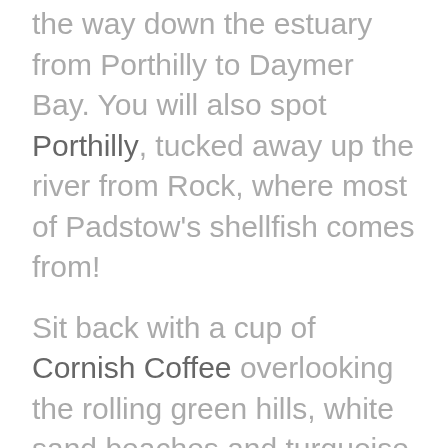the way down the estuary from Porthilly to Daymer Bay. You will also spot Porthilly, tucked away up the river from Rock, where most of Padstow's shellfish comes from!
Sit back with a cup of Cornish Coffee overlooking the rolling green hills, white sand beaches and turquoise waters. In our opinion, there's no where in the world more peaceful or beautiful.
Padstow